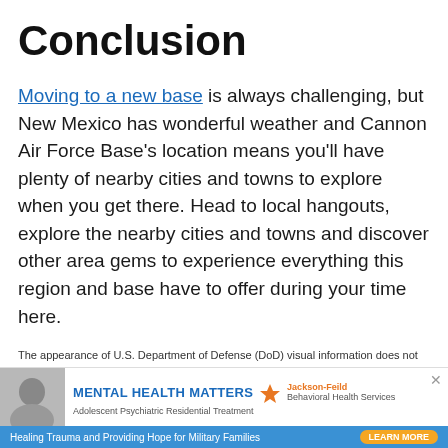Conclusion
Moving to a new base is always challenging, but New Mexico has wonderful weather and Cannon Air Force Base's location means you'll have plenty of nearby cities and towns to explore when you get there. Head to local hangouts, explore the nearby cities and towns and discover other area gems to experience everything this region and base have to offer during your time here.
The appearance of U.S. Department of Defense (DoD) visual information does not imply or constitute DoD endorsement.
[Figure (infographic): Advertisement banner: 'MENTAL HEALTH MATTERS - Adolescent Psychiatric Residential Treatment' with Jackson-Feild logo, close button, and a blue bar reading 'Healing Trauma and Providing Hope for Military Families' with a 'LEARN MORE' button]